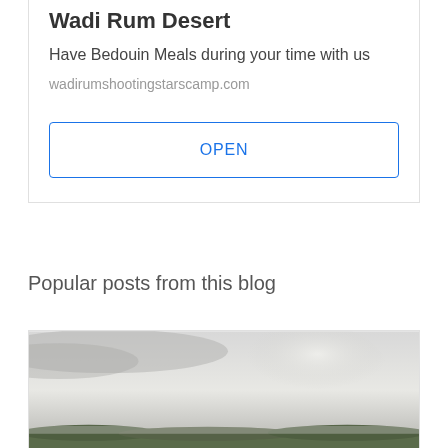Wadi Rum Desert
Have Bedouin Meals during your time with us
wadirumshootingstarscamp.com
OPEN
Popular posts from this blog
[Figure (photo): Landscape photograph showing a wide panoramic view with a pale grey cloudy sky and distant green hills or terrain at the bottom edge.]